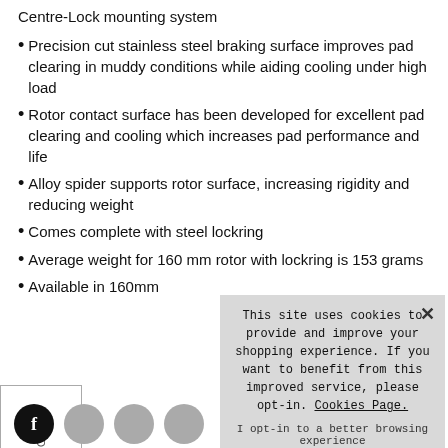Centre-Lock mounting system
Precision cut stainless steel braking surface improves pad clearing in muddy conditions while aiding cooling under high load
Rotor contact surface has been developed for excellent pad clearing and cooling which increases pad performance and life
Alloy spider supports rotor surface, increasing rigidity and reducing weight
Comes complete with steel lockring
Average weight for 160 mm rotor with lockring is 153 grams
Available in 160mm
This site uses cookies to provide and improve your shopping experience. If you want to benefit from this improved service, please opt-in. Cookies Page.
I opt-in to a better browsing experience
ACCEPT COOKIES